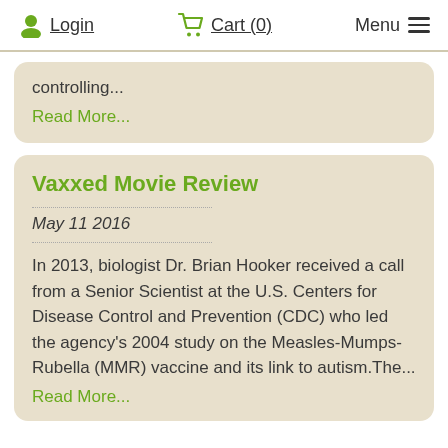Login  Cart (0)  Menu
controlling...
Read More...
Vaxxed Movie Review
May 11 2016
In 2013, biologist Dr. Brian Hooker received a call from a Senior Scientist at the U.S. Centers for Disease Control and Prevention (CDC) who led the agency's 2004 study on the Measles-Mumps-Rubella (MMR) vaccine and its link to autism.The...
Read More...